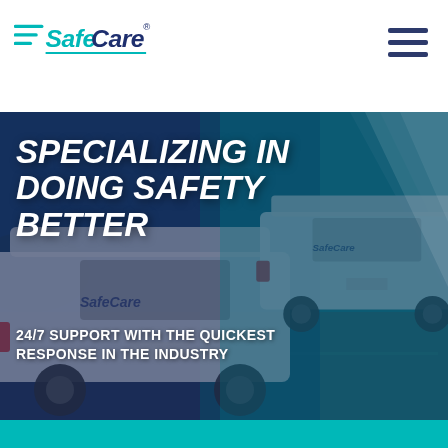[Figure (logo): SafeCare company logo with teal speed lines and dark blue/teal lettering]
[Figure (illustration): Hamburger/menu icon with three dark horizontal lines in top-right corner]
[Figure (photo): Hero banner showing two white SafeCare vans on a road with dark navy and teal color overlay and diagonal light slash]
Specializing in Doing Safety Better
24/7 SUPPORT WITH THE QUICKEST RESPONSE IN THE INDUSTRY